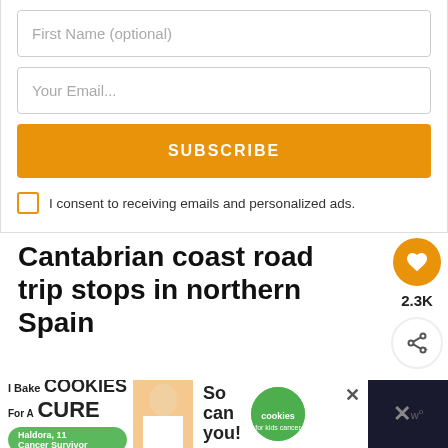First Name (optional)
Your Email...
SUBSCRIBE
I consent to receiving emails and personalized ads.
Cantabrian coast road trip stops in northern Spain
The small towns along the Cantabrian coastline were my favourite portion of northern Spain road trip.
[Figure (infographic): What's Next overlay showing Central Spain Road Trip thumbnail and label]
[Figure (infographic): Ad banner: I Bake COOKIES For A CURE / Haldora, 11 Cancer Survivor / So can you! / cookies for kids cancer. Close X button visible. Dark right panel with W logo.]